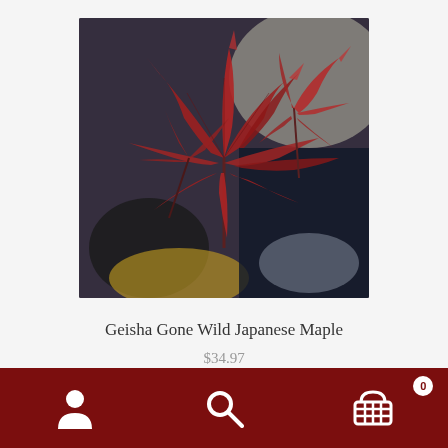[Figure (photo): Close-up photo of a Geisha Gone Wild Japanese Maple plant with reddish-pink deeply dissected leaves against a blurred background of garden pots and foliage.]
Geisha Gone Wild Japanese Maple
$34.97
Select options
Navigation bar with person icon, search icon, and shopping cart with badge 0